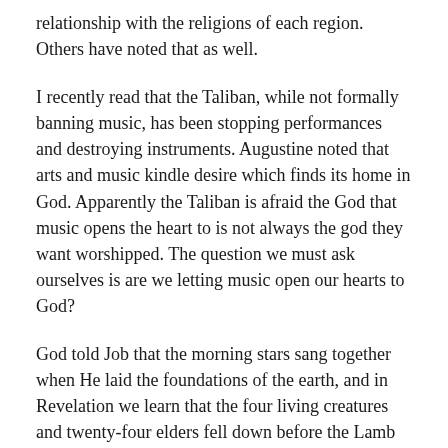relationship with the religions of each region. Others have noted that as well.
I recently read that the Taliban, while not formally banning music, has been stopping performances and destroying instruments. Augustine noted that arts and music kindle desire which finds its home in God. Apparently the Taliban is afraid the God that music opens the heart to is not always the god they want worshipped. The question we must ask ourselves is are we letting music open our hearts to God?
God told Job that the morning stars sang together when He laid the foundations of the earth, and in Revelation we learn that the four living creatures and twenty-four elders fell down before the Lamb and sang a new song. Psalm 22 prefigures much that happened on the cross of Jesus, and the writer of Hebrews paraphrases verse 22 by saying “In the midst of the congregation I will sing Thy praise.”